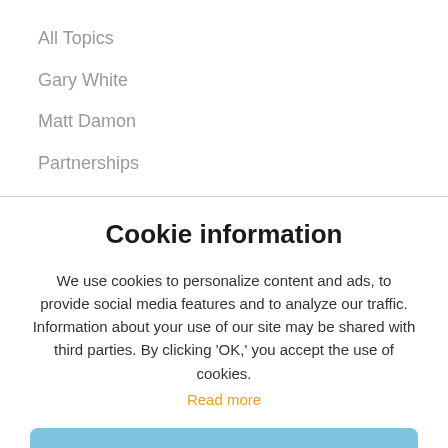All Topics
Gary White
Matt Damon
Partnerships
Cookie information
We use cookies to personalize content and ads, to provide social media features and to analyze our traffic. Information about your use of our site may be shared with third parties. By clicking 'OK,' you accept the use of cookies.
Read more
OK